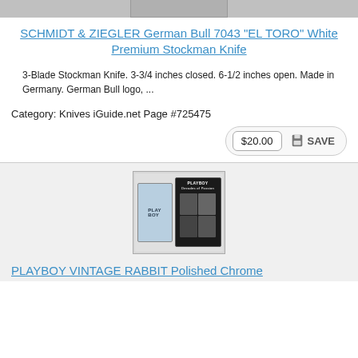[Figure (photo): Top portion of a product image cropped at the top of the page]
SCHMIDT & ZIEGLER German Bull 7043 "EL TORO" White Premium Stockman Knife
3-Blade Stockman Knife. 3-3/4 inches closed. 6-1/2 inches open. Made in Germany. German Bull logo, ...
Category: Knives iGuide.net Page #725475
$20.00  SAVE
[Figure (photo): Product photo showing a Playboy Vintage Rabbit lighter and Playboy Decades of Passion book/magazine]
PLAYBOY VINTAGE RABBIT Polished Chrome